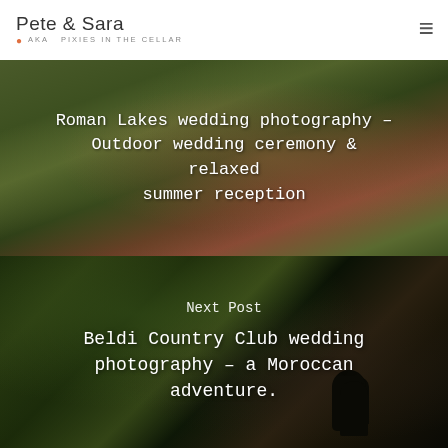Pete & Sara AKA PIXIES IN THE CELLAR
[Figure (photo): Outdoor wedding photo showing couple in a garden/nature setting, man in maroon shirt with suspenders]
Roman Lakes wedding photography – Outdoor wedding ceremony & relaxed summer reception
[Figure (photo): Dark, blurred garden/foliage scene with silhouette of person in hat in the distance]
Next Post
Beldi Country Club wedding photography – a Moroccan adventure.